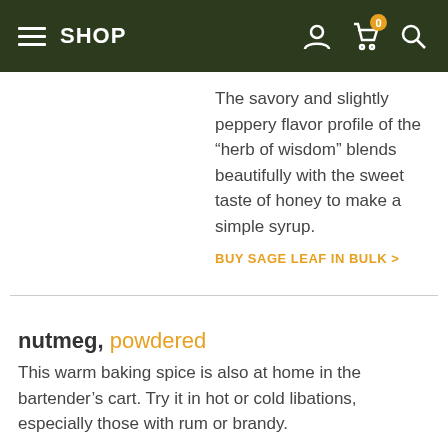SHOP
The savory and slightly peppery flavor profile of the “herb of wisdom” blends beautifully with the sweet taste of honey to make a simple syrup.
BUY SAGE LEAF IN BULK >
nutmeg, powdered
This warm baking spice is also at home in the bartender’s cart. Try it in hot or cold libations, especially those with rum or brandy.
BUY POWDERED NUTMEG IN BULK >